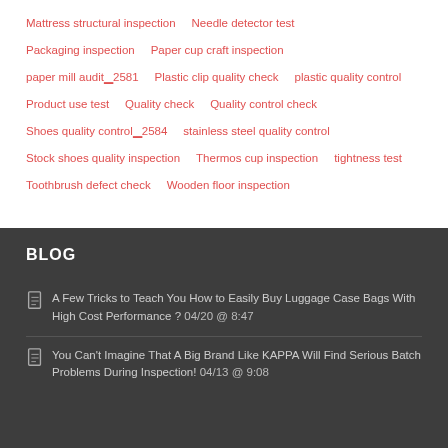Mattress structural inspection
Needle detector test
Packaging inspection
Paper cup craft inspection
paper mill audit‘2581
Plastic clip quality check
plastic quality control
Product use test
Quality check
Quality control check
Shoes quality control‘2584
stainless steel quality control
Stock shoes quality inspection
Thermos cup inspection
tightness test
Toothbrush defect check
Wooden floor inspection
BLOG
A Few Tricks to Teach You How to Easily Buy Luggage Case Bags With High Cost Performance ? 04/20 @ 8:47
You Can't Imagine That A Big Brand Like KAPPA Will Find Serious Batch Problems During Inspection! 04/13 @ 9:08